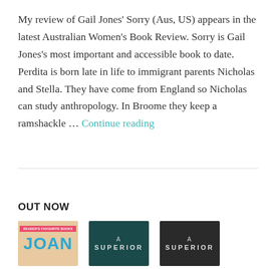My review of Gail Jones' Sorry (Aus, US) appears in the latest Australian Women's Book Review. Sorry is Gail Jones's most important and accessible book to date. Perdita is born late in life to immigrant parents Nicholas and Stella. They have come from England so Nicholas can study anthropology. In Broome they keep a ramshackle … Continue reading
OUT NOW
[Figure (photo): Three book covers side by side: (1) Joan - peach/tan cover with large teal text 'JOAN', pink banner at top; (2) A Superior - dark teal cover with abstract circular design and white text 'A SUPERIOR'; (3) A Superior - dark moody cover with white text 'A SUPERIOR']